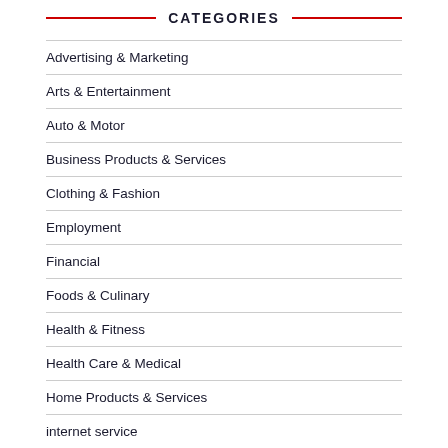CATEGORIES
Advertising & Marketing
Arts & Entertainment
Auto & Motor
Business Products & Services
Clothing & Fashion
Employment
Financial
Foods & Culinary
Health & Fitness
Health Care & Medical
Home Products & Services
internet service
Internet Services